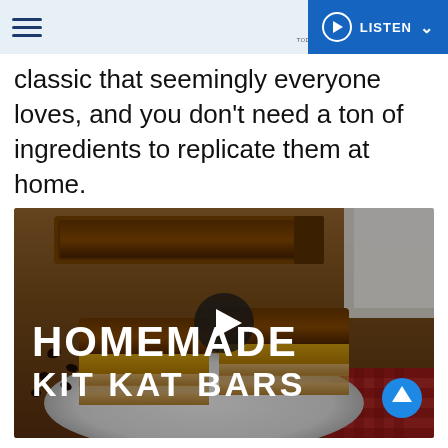MAGIC 98.3 — TODAY'S HITS, YESTERDAY'S FAVORITES — LISTEN
classic that seemingly everyone loves, and you don't need a ton of ingredients to replicate them at home.
[Figure (screenshot): Video thumbnail showing homemade Kit Kat bars on a plate with text overlay reading 'HOMEMADE KIT KAT BARS' and a play button in the center]